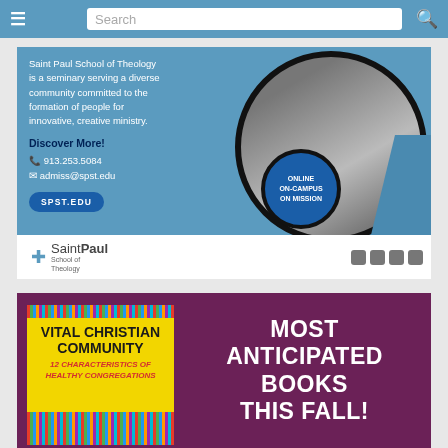Search
[Figure (advertisement): Saint Paul School of Theology advertisement. Blue background. Text: 'Saint Paul School of Theology is a seminary serving a diverse community committed to the formation of people for innovative, creative ministry.' Discover More! 913.253.5084, admiss@spst.edu, SPST.EDU button. Circle badge: ONLINE ON-CAMPUS ON MISSION. Logo with cross and Saint Paul School of Theology name. Social media icons.]
[Figure (advertisement): Purple advertisement featuring book cover 'Vital Christian Community: 12 Characteristics of Healthy Congregations' on yellow background with colorful stripes. Text: MOST ANTICIPATED BOOKS THIS FALL!]